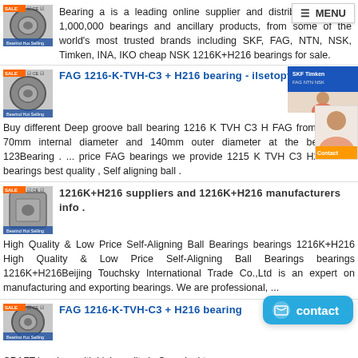Bearing a is a leading online supplier and distributor of over 1,000,000 bearings and ancillary products, from some of the world's most trusted brands including SKF, FAG, NTN, NSK, Timken, INA, IKO cheap NSK 1216K+H216 bearings for sale.
FAG 1216-K-TVH-C3 + H216 bearing - ilsetopf.c
Buy different Deep groove ball bearing 1216 K TVH C3 H FAG from 94.13 € 70mm internal diameter and 140mm outer diameter at the best price 123Bearing . ... price FAG bearings we provide 1215 K TVH C3 H215 FAG bearings best quality , Self aligning ball .
1216K+H216 suppliers and 1216K+H216 manufacturers info .
High Quality & Low Price Self-Aligning Ball Bearings bearings 1216K+H216 High Quality & Low Price Self-Aligning Ball Bearings bearings 1216K+H216Beijing Touchsky International Trade Co.,Ltd is an expert on manufacturing and exporting bearings. We are professional, ...
FAG 1216-K-TVH-C3 + H216 bearing